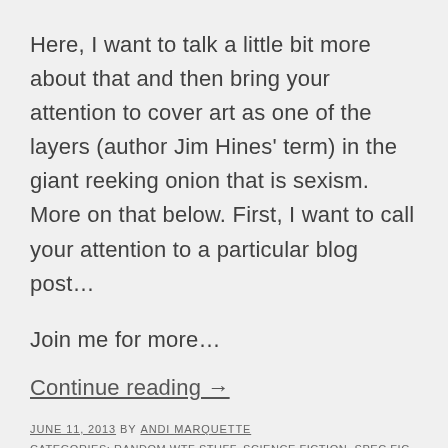Here, I want to talk a little bit more about that and then bring your attention to cover art as one of the layers (author Jim Hines' term) in the giant reeking onion that is sexism. More on that below. First, I want to call your attention to a particular blog post…
Join me for more…
Continue reading →
JUNE 11, 2013 BY ANDI MARQUETTE
CATEGORIES: RANDOM WTF STUFF, SCIENCE FICTION, SPEC FIC, THINGS THAT MAKE YOU THINK, WRITING